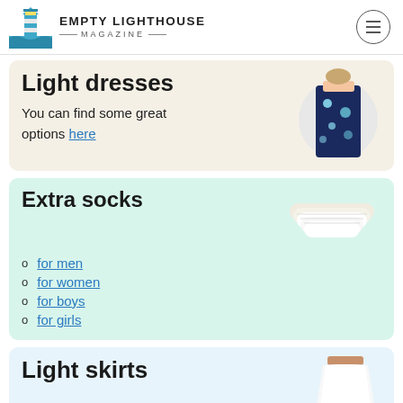Empty Lighthouse Magazine
Light dresses
You can find some great options here
[Figure (photo): Woman wearing a navy blue floral maxi dress]
Extra socks
[Figure (photo): Pack of white ankle socks]
for men
for women
for boys
for girls
Light skirts
[Figure (photo): White light skirt partial view]